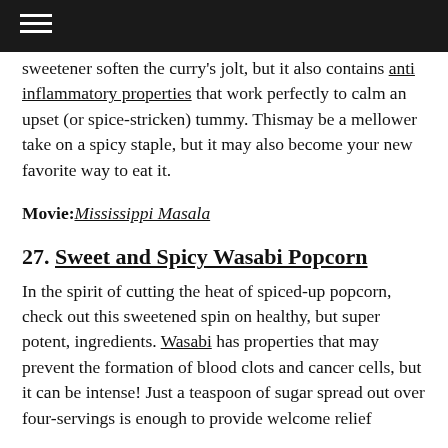☰
sweetener soften the curry's jolt, but it also contains anti inflammatory properties that work perfectly to calm an upset (or spice-stricken) tummy. Thismay be a mellower take on a spicy staple, but it may also become your new favorite way to eat it.
Movie: Mississippi Masala
27. Sweet and Spicy Wasabi Popcorn
In the spirit of cutting the heat of spiced-up popcorn, check out this sweetened spin on healthy, but super potent, ingredients. Wasabi has properties that may prevent the formation of blood clots and cancer cells, but it can be intense! Just a teaspoon of sugar spread out over four-servings is enough to provide welcome relief